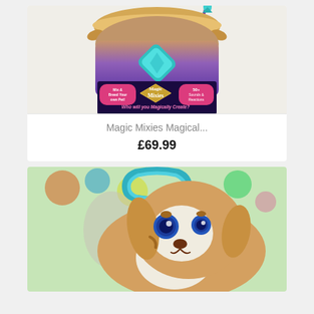[Figure (photo): Magic Mixies Magical Cauldron toy product photo showing a gold and purple cauldron with a teal gem and wand, with colorful packaging]
Magic Mixies Magical...
£69.99
[Figure (photo): Stuffed plush puppy toy with teal handle/collar, golden brown and white fur with blue eyes, shown with colorful carry case background]